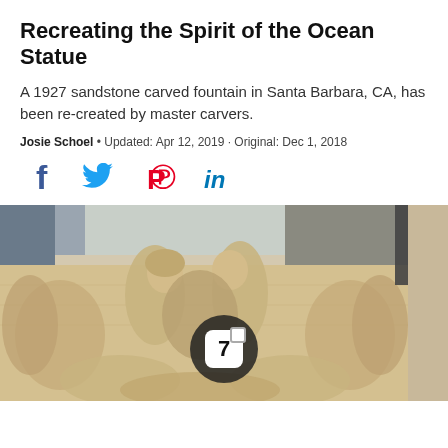Recreating the Spirit of the Ocean Statue
A 1927 sandstone carved fountain in Santa Barbara, CA, has been re-created by master carvers.
Josie Schoel • Updated: Apr 12, 2019 · Original: Dec 1, 2018
[Figure (infographic): Social media share icons: Facebook (blue f), Twitter (blue bird), Pinterest (red P), LinkedIn (blue in)]
[Figure (photo): A sandstone carved fountain depicting ocean figures and relief sculptures, with a circular dark overlay badge showing the number 7 in the center of the image.]